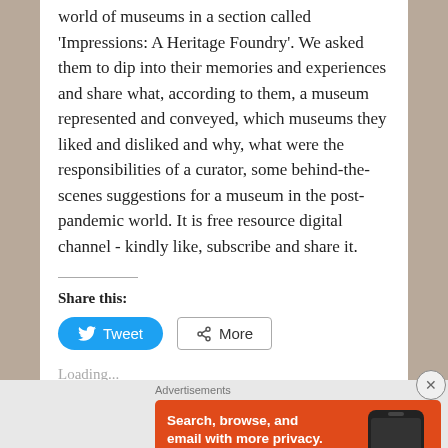world of museums in a section called 'Impressions: A Heritage Foundry'. We asked them to dip into their memories and experiences and share what, according to them, a museum represented and conveyed, which museums they liked and disliked and why, what were the responsibilities of a curator, some behind-the-scenes suggestions for a museum in the post-pandemic world. It is free resource digital channel - kindly like, subscribe and share it.
Share this:
[Figure (screenshot): Tweet button (blue rounded) and More button (outlined)]
Loading...
Advertisements
[Figure (illustration): DuckDuckGo advertisement banner: orange background with text 'Search, browse, and email with more privacy. All in One Free App' and a phone graphic showing DuckDuckGo logo]